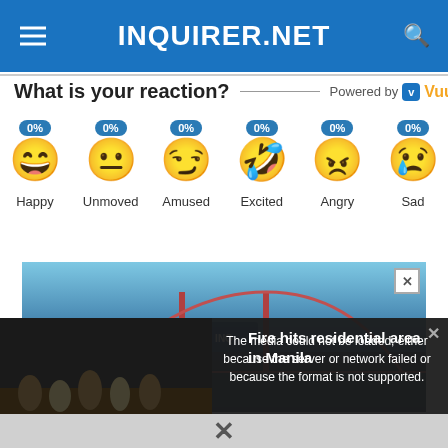INQUIRER.NET
What is your reaction?
[Figure (infographic): Six emoji reaction buttons labeled Happy, Unmoved, Amused, Excited, Angry, Sad each showing 0% badge]
[Figure (photo): Advertisement banner with bridge image]
The media could not be loaded, either because the server or network failed or because the format is not supported.
Fire hits residential area in Manila
FIRE HITS RESIDENTIAL AREA IN MANILA